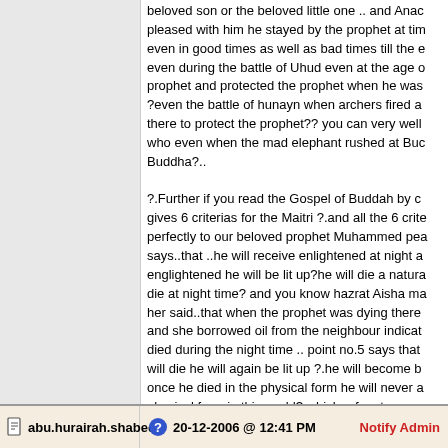beloved son or the beloved little one .. and Anas pleased with him he stayed by the prophet at times even in good times as well as bad times till the e even during the battle of Uhud even at the age o prophet and protected the prophet when he was ?even the battle of hunayn when archers fired a there to protect the prophet?? you can very well who even when the mad elephant rushed at Bud Buddha?..

?.Further if you read the Gospel of Buddah by c gives 6 criterias for the Maitri ?.and all the 6 crite perfectly to our beloved prophet Muhammed pe says..that ..he will receive enlightened at night a englightened he will be lit up?he will die a nature die at night time? and you know hazrat Aisha ma her said..that when the prophet was dying there and she borrowed oil from the neighbour indicat died during the night time .. point no.5 says that will die he will again be lit up ?.he will become b once he died in the physical form he will never a physical form in this world? which refers to no o prophet?.

There are several prophesies?.if you further rea padda?sacred books of east? vol no.10 page 57 satagrathas t
abu.hurairah.shabeer
20-12-2006 @ 12:41 PM
Notify Admin